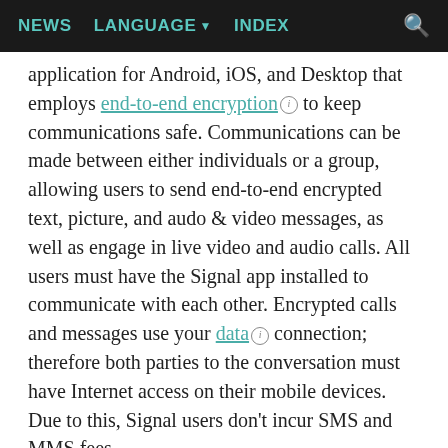NEWS   LANGUAGE▼   INDEX
application for Android, iOS, and Desktop that employs end-to-end encryption ⓘ to keep communications safe. Communications can be made between either individuals or a group, allowing users to send end-to-end encrypted text, picture, and audo & video messages, as well as engage in live video and audio calls. All users must have the Signal app installed to communicate with each other. Encrypted calls and messages use your data ⓘ connection; therefore both parties to the conversation must have Internet access on their mobile devices. Due to this, Signal users don't incur SMS and MMS fees.
Download Location: The app can be